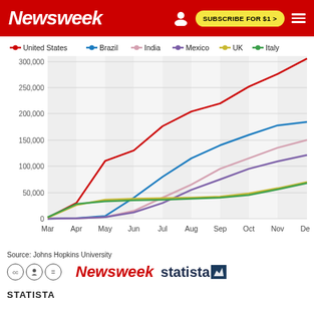Newsweek — SUBSCRIBE FOR $1 >
[Figure (line-chart): COVID-19 cumulative cases by country, Mar–Dec 2020]
Source: Johns Hopkins University
STATISTA